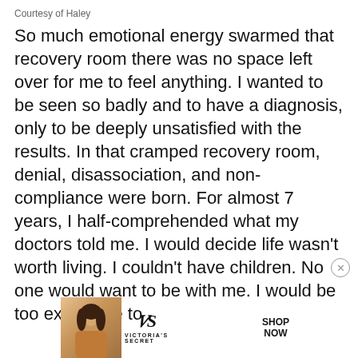Courtesy of Haley
So much emotional energy swarmed that recovery room there was no space left over for me to feel anything. I wanted to be seen so badly and to have a diagnosis, only to be deeply unsatisfied with the results. In that cramped recovery room, denial, disassociation, and non-compliance were born. For almost 7 years, I half-comprehended what my doctors told me. I would decide life wasn’t worth living. I couldn’t have children. No one would want to be with me. I would be too expensive to
[Figure (other): Victoria's Secret advertisement banner with a woman's photo, VS logo, 'SHOP THE COLLECTION' text, and 'SHOP NOW' button]